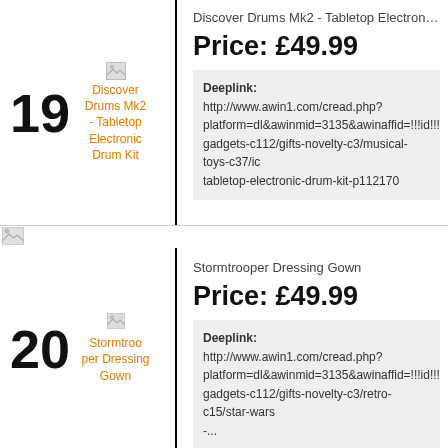19
[Figure (photo): Broken image thumbnail for Discover Drums Mk2 - Tabletop Electronic Drum Kit]
Discover Drums Mk2 - Tabletop Electronic Drum Kit
Price: £49.99
Deeplink: http://www.awin1.com/cread.php?platform=dl&awinmid=3135&awinaffid=!!!id!!!&p=gadgets-c112/gifts-novelty-c3/musical-toys-c37/ic tabletop-electronic-drum-kit-p112170
[Figure (photo): Broken image strip at top of second item]
20
[Figure (photo): Broken image thumbnail for Stormtrooper Dressing Gown]
Stormtrooper Dressing Gown
Price: £49.99
Deeplink: http://www.awin1.com/cread.php?platform=dl&awinmid=3135&awinaffid=!!!id!!!&p=gadgets-c112/gifts-novelty-c3/retro-c15/star-wars-...